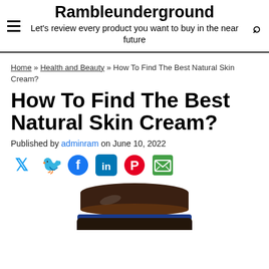Rambleunderground — Let's review every product you want to buy in the near future
Home » Health and Beauty » How To Find The Best Natural Skin Cream?
How To Find The Best Natural Skin Cream?
Published by adminram on June 10, 2022
[Figure (other): Social share icons: Twitter (blue bird), Facebook (blue circle with f), LinkedIn (blue square with in), Pinterest (red circle with P), Email (green envelope)]
[Figure (photo): A dark jar of natural skin cream with a dark brown lid and blue accent ring at the base, partially cropped at the bottom of the page]